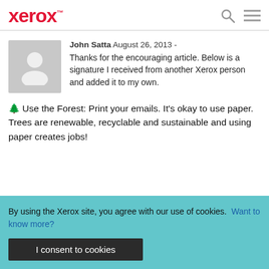Xerox™
John Satta August 26, 2013 - Thanks for the encouraging article. Below is a signature I received from another Xerox person and added it to my own.
🌲 Use the Forest: Print your emails. It's okay to use paper. Trees are renewable, recyclable and sustainable and using paper creates jobs!
By using the Xerox site, you agree with our use of cookies. Want to know more?
I consent to cookies